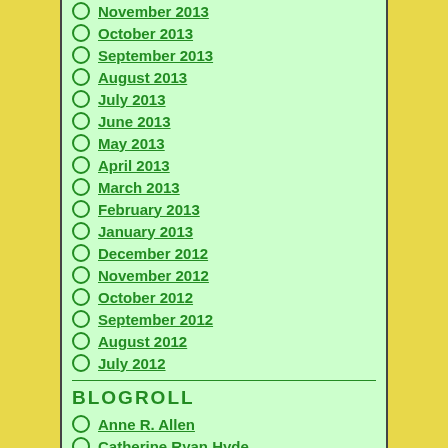November 2013
October 2013
September 2013
August 2013
July 2013
June 2013
May 2013
April 2013
March 2013
February 2013
January 2013
December 2012
November 2012
October 2012
September 2012
August 2012
July 2012
BLOGROLL
Anne R. Allen
Catherine Ryan Hyde